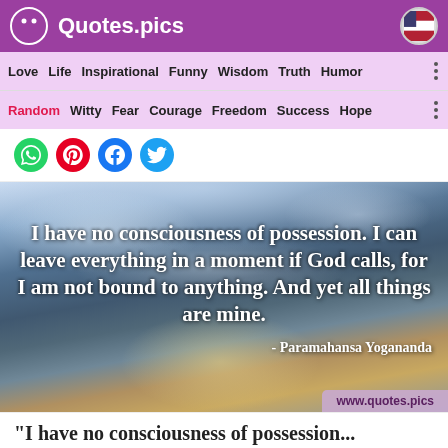Quotes.pics
Love  Life  Inspirational  Funny  Wisdom  Truth  Humor
Random  Witty  Fear  Courage  Freedom  Success  Hope
[Figure (screenshot): Quote image over sky background: 'I have no consciousness of possession. I can leave everything in a moment if God calls, for I am not bound to anything. And yet all things are mine. - Paramahansa Yogananda' with watermark www.quotes.pics]
"I have no consciousness of possession...